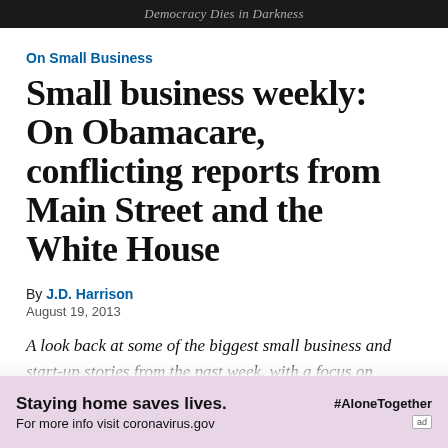Democracy Dies in Darkness
On Small Business
Small business weekly: On Obamacare, conflicting reports from Main Street and the White House
By J.D. Harrison
August 19, 2013
A look back at some of the biggest small business and start-up stories from the past week, with a focus on Washington
[Figure (other): Advertisement banner: 'Staying home saves lives. For more info visit coronavirus.gov' with #AloneTogether hashtag and 'ad' badge on a pink/lavender background.]